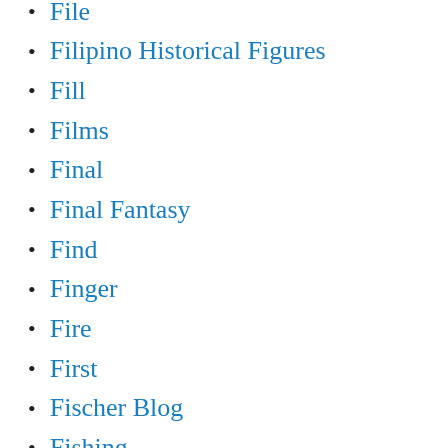File
Filipino Historical Figures
Fill
Films
Final
Final Fantasy
Find
Finger
Fire
First
Fischer Blog
Fishing
Flashback – Nintendo
Flashback Collects Games
Flipped Learning
Flood Seeks
Fluentu